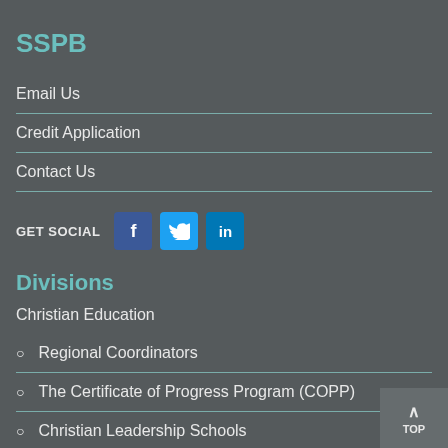SSPB
Email Us
Credit Application
Contact Us
GET SOCIAL
[Figure (infographic): Social media icons: Facebook (blue square with f), Twitter (light blue square with bird), LinkedIn (blue square with in)]
Divisions
Christian Education
Regional Coordinators
The Certificate of Progress Program (COPP)
Christian Leadership Schools